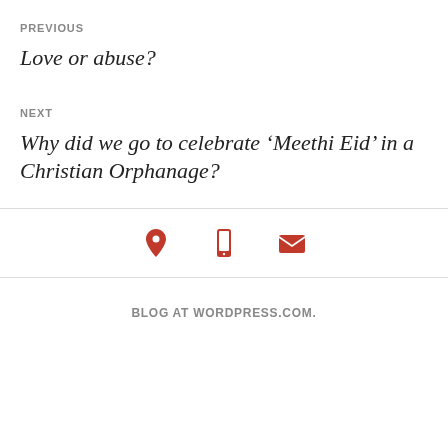PREVIOUS
Love or abuse?
NEXT
Why did we go to celebrate ‘Meethi Eid’ in a Christian Orphanage?
[Figure (infographic): Three red icons: location pin, mobile phone, and envelope/mail]
BLOG AT WORDPRESS.COM.